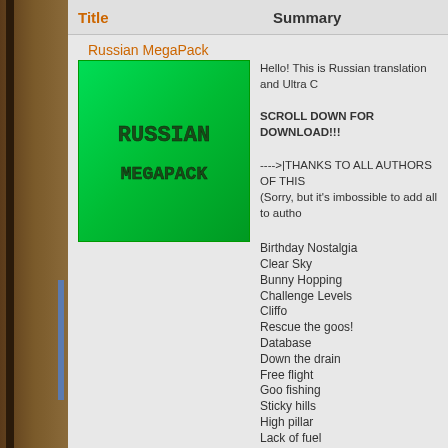Title	Summary
Russian MegaPack
[Figure (illustration): Green background with 'RUSSIAN MEGAPACK' text in dark blocky letters]
Hello! This is Russian translation and Ultra C
SCROLL DOWN FOR DOWNLOAD!!!
---->|THANKS TO ALL AUTHORS OF THIS
(Sorry, but it's imbossible to add all to autho
Birthday Nostalgia
Clear Sky
Bunny Hopping
Challenge Levels
Cliffo
Rescue the goos!
Database
Down the drain
Free flight
Goo fishing
Sticky hills
High pillar
Lack of fuel
Lagoon
Bog of goo
Milky way (Integrated, Working)
Nail hill
Ode to bridge builder 2
Rainy day
Risky's high spiky hill
Strong wind
Sunrise
Twins f sh th...